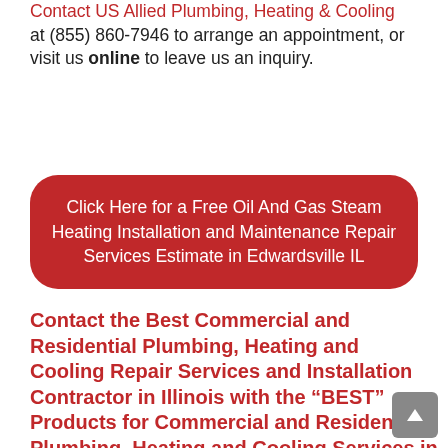Contact US Allied Plumbing, Heating & Cooling at (855) 860-7946 to arrange an appointment, or visit us online to leave us an inquiry.
[Figure (other): Red rounded rectangle button with white text: Click Here for a Free Oil And Gas Steam Heating Installation and Maintenance Repair Services Estimate in Edwardsville IL]
Contact the Best Commercial and Residential Plumbing, Heating and Cooling Repair Services and Installation Contractor in Illinois with the "BEST" Products for Commercial and Residential Plumbing, Heating and Cooling Services in North Aurora, Illinois